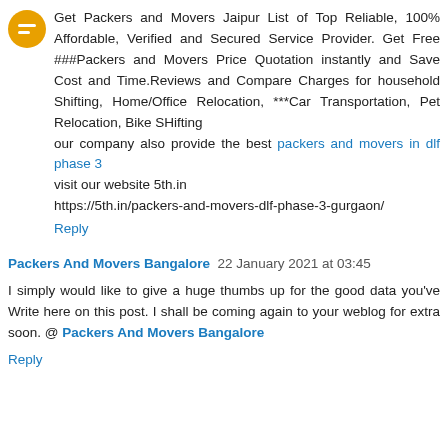Get Packers and Movers Jaipur List of Top Reliable, 100% Affordable, Verified and Secured Service Provider. Get Free ###Packers and Movers Price Quotation instantly and Save Cost and Time.Reviews and Compare Charges for household Shifting, Home/Office Relocation, ***Car Transportation, Pet Relocation, Bike SHifting
our company also provide the best packers and movers in dlf phase 3
visit our website 5th.in
https://5th.in/packers-and-movers-dlf-phase-3-gurgaon/
Reply
Packers And Movers Bangalore 22 January 2021 at 03:45
I simply would like to give a huge thumbs up for the good data you've Write here on this post. I shall be coming again to your weblog for extra soon. @ Packers And Movers Bangalore
Reply